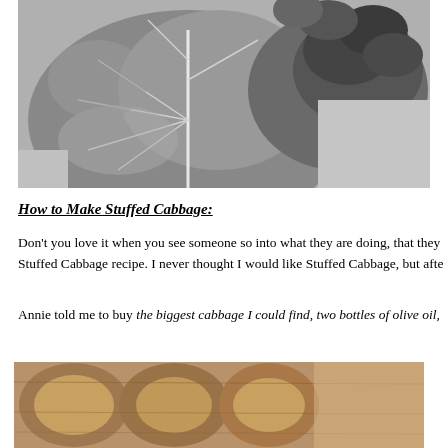[Figure (photo): Close-up black and white photograph of a savoy cabbage head showing textured crinkled leaves and veins]
How to Make Stuffed Cabbage:
Don't you love it when you see someone so into what they are doing, that they Stuffed Cabbage recipe. I never thought I would like Stuffed Cabbage, but afte
Annie told me to buy the biggest cabbage I could find, two bottles of olive oil,
[Figure (photo): Close-up photo of wooden bowls or spoons in warm brown tones]